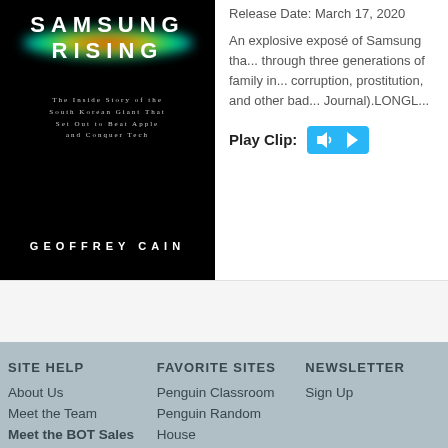[Figure (illustration): Book cover for 'Samsung Rising' by Geoffrey Cain. Black background with colorful glowing arc (red, orange, yellow, green, blue, purple) near top. White bold text 'SAMSUNG RISING' as title, smaller subtitle in gray/silver spaced caps 'THE INSIDE STORY OF THE SOUTH KOREAN GIANT THAT SET OUT TO BEAT APPLE AND CONQUER TECH', and author name 'GEOFFREY CAIN' at bottom.]
Release Date: March 17, 2020
An explosive exposé of Samsung tha... through three generations of family in... corruption, prostitution, and other bad... Journal).LONGL...
Play Clip:
SITE HELP
FAVORITE SITES
NEWSLETTER
About Us
Meet the Team
Meet the BOT Sales
Penguin Classroom
Penguin Random
House
Sign Up